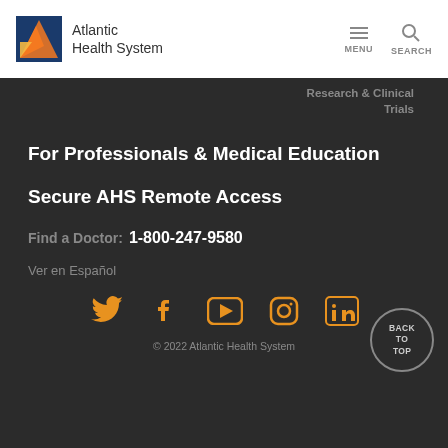Atlantic Health System
Research & Clinical Trials
For Professionals & Medical Education
Secure AHS Remote Access
Find a Doctor: 1-800-247-9580
Ver en Español
[Figure (other): Social media icons: Twitter, Facebook, YouTube, Instagram, LinkedIn in orange]
© 2022 Atlantic Health System